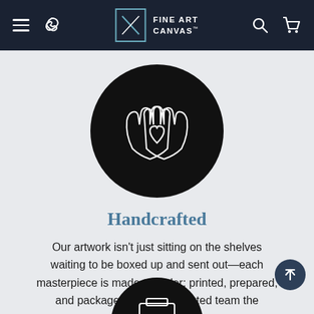Fine Art Canvas
[Figure (illustration): Black circle with white line-art illustration of two hands held up with a heart shape between them, representing handcrafted care]
Handcrafted
Our artwork isn't just sitting on the shelves waiting to be boxed up and sent out—each masterpiece is made-to-order; printed, prepared, and packaged by our dedicated team the moment you click purchase.
[Figure (illustration): Black circle partially visible at bottom of page, containing a white icon]